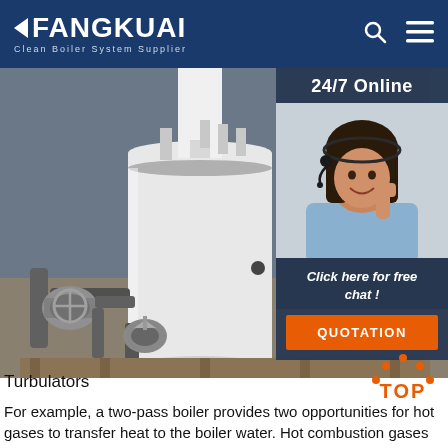FANGKUAI Clean Boiler System Supplier
[Figure (photo): Industrial boiler with piping and valves in a factory setting, with a 24/7 online chat overlay on the right showing a female customer service agent, a 'Click here for free chat!' message, and an orange QUOTATION button]
Turbulators
For example, a two-pass boiler provides two opportunities for hot gases to transfer heat to the boiler water. Hot combustion gases